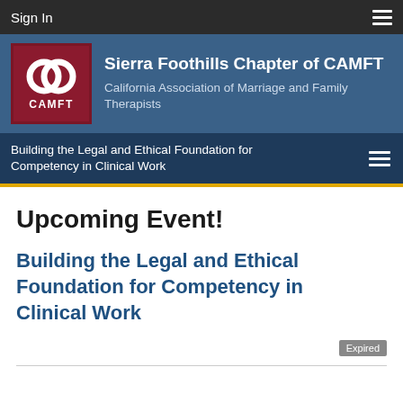Sign In
[Figure (logo): CAMFT logo with two interlocking rings on dark red background with text CAMFT]
Sierra Foothills Chapter of CAMFT
California Association of Marriage and Family Therapists
Building the Legal and Ethical Foundation for Competency in Clinical Work
Upcoming Event!
Building the Legal and Ethical Foundation for Competency in Clinical Work